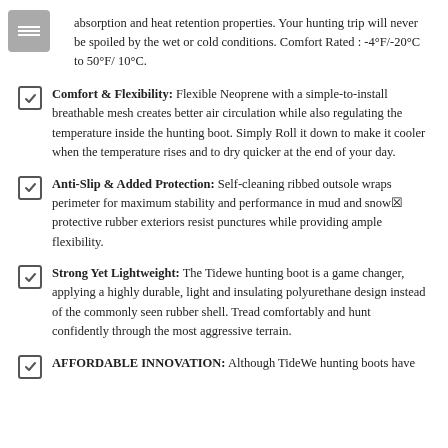absorption and heat retention properties. Your hunting trip will never be spoiled by the wet or cold conditions. Comfort Rated: -4°F/-20°C to 50°F/ 10°C.
Comfort & Flexibility: Flexible Neoprene with a simple-to-install breathable mesh creates better air circulation while also regulating the temperature inside the hunting boot. Simply Roll it down to make it cooler when the temperature rises and to dry quicker at the end of your day.
Anti-Slip & Added Protection: Self-cleaning ribbed outsole wraps perimeter for maximum stability and performance in mud and snow; protective rubber exteriors resist punctures while providing ample flexibility.
Strong Yet Lightweight: The Tidewe hunting boot is a game changer, applying a highly durable, light and insulating polyurethane design instead of the commonly seen rubber shell. Tread comfortably and hunt confidently through the most aggressive terrain.
AFFORDABLE INNOVATION: Although TideWe hunting boots have